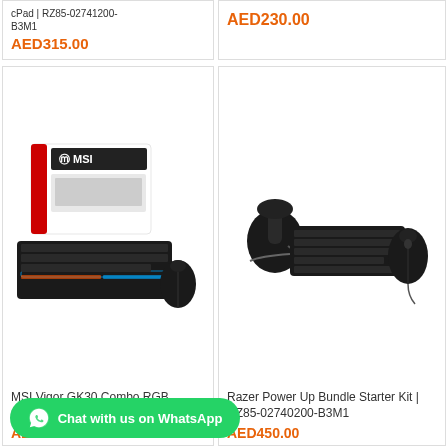cPad | RZ85-02741200-B3M1
AED315.00
AED230.00
[Figure (photo): MSI Vigor GK30 Combo RGB Gaming Keyboard and Mouse product box and components on white background]
MSI Vigor GK30 Combo RGB Gaming Keyboard and Mouse
AED315.00
[Figure (photo): Razer Power Up Bundle Starter Kit with keyboard headset and mouse on black background]
Razer Power Up Bundle Starter Kit | RZ85-02740200-B3M1
AED450.00
Chat with us on WhatsApp